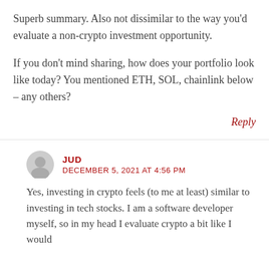Superb summary. Also not dissimilar to the way you'd evaluate a non-crypto investment opportunity.
If you don't mind sharing, how does your portfolio look like today? You mentioned ETH, SOL, chainlink below – any others?
Reply
JUD
DECEMBER 5, 2021 AT 4:56 PM
Yes, investing in crypto feels (to me at least) similar to investing in tech stocks. I am a software developer myself, so in my head I evaluate crypto a bit like I would